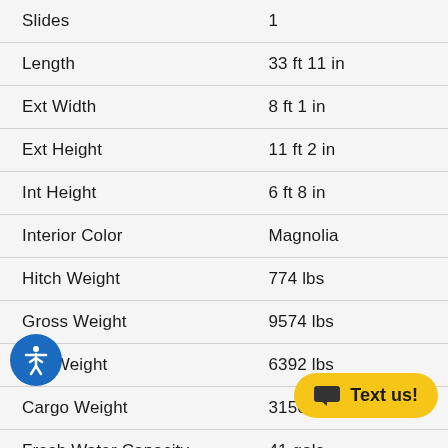| Specification | Value |
| --- | --- |
| Slides | 1 |
| Length | 33 ft 11 in |
| Ext Width | 8 ft 1 in |
| Ext Height | 11 ft 2 in |
| Int Height | 6 ft 8 in |
| Interior Color | Magnolia |
| Hitch Weight | 774 lbs |
| Gross Weight | 9574 lbs |
| Dry Weight | 6392 lbs |
| Cargo Weight | 3150 lbs |
| Fresh Water Capacity | 41 gals |
| Grey Water Capacity | 80 gals |
| Black Water Capacity | 40... |
| Slider Floor... |  |